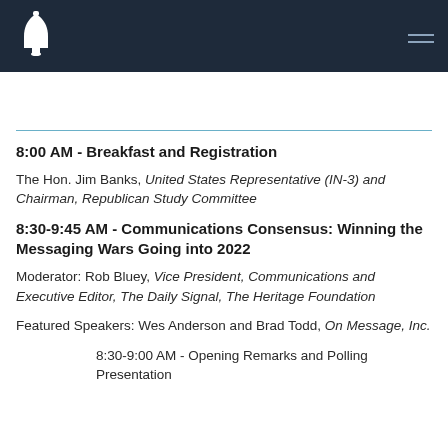Heritage Foundation event page header with bell logo and hamburger menu
8:00 AM - Breakfast and Registration
The Hon. Jim Banks, United States Representative (IN-3) and Chairman, Republican Study Committee
8:30-9:45 AM - Communications Consensus: Winning the Messaging Wars Going into 2022
Moderator: Rob Bluey, Vice President, Communications and Executive Editor, The Daily Signal, The Heritage Foundation
Featured Speakers: Wes Anderson and Brad Todd, On Message, Inc.
8:30-9:00 AM - Opening Remarks and Polling Presentation